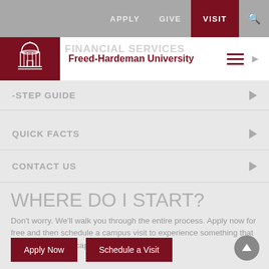APPLY   GIVE   VISIT   [search]
[Figure (logo): Freed-Hardeman University logo with building cupola icon in white on maroon background]
Freed-Hardeman University
FINANCIAL SERVICES (watermark/partial)
-STEP GUIDE
QUICK FACTS
CONTACT US
WHERE DO I START?
Don't worry. We'll walk you through the entire process. Apply now for free and then schedule a campus visit to experience something that pictures just can't capture.
Apply Now   Schedule a Visit